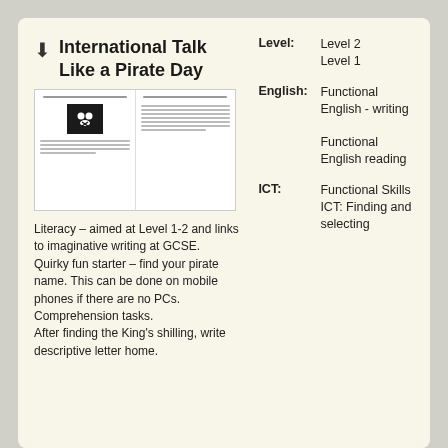International Talk Like a Pirate Day
[Figure (illustration): Thumbnail preview of two document pages, one with a skull and crossbones image and text, the other with text and a red box.]
Literacy – aimed at Level 1-2 and links to imaginative writing at GCSE. Quirky fun starter – find your pirate name. This can be done on mobile phones if there are no PCs. Comprehension tasks. After finding the King's shilling, write descriptive letter home.
Level: Level 2 Level 1
English: Functional English - writing Functional English reading
ICT: Functional Skills ICT: Finding and selecting